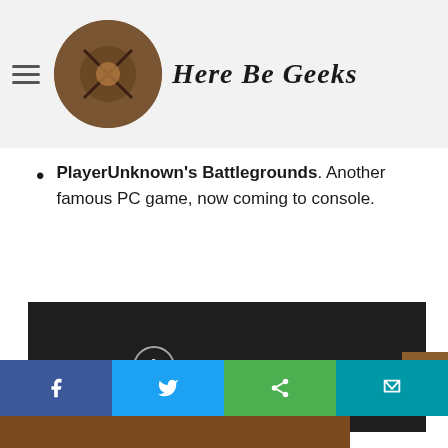Here Be Geeks
PlayerUnknown's Battlegrounds. Another famous PC game, now coming to console.
[Figure (screenshot): Embedded video player showing 'This video is private' message on dark background]
[Figure (infographic): Social share buttons bar with Facebook, Twitter, Google+/WhatsApp, and another social platform]